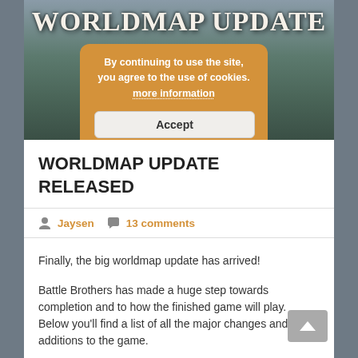[Figure (screenshot): Header banner image for Battle Brothers game blog with medieval fantasy artwork showing soldiers and landscape, with 'WORLDMAP UPDATE' title text overlaid]
By continuing to use the site, you agree to the use of cookies. more information
Accept
WORLDMAP UPDATE RELEASED
Jaysen  13 comments
Finally, the big worldmap update has arrived!
Battle Brothers has made a huge step towards completion and to how the finished game will play. Below you'll find a list of all the major changes and additions to the game.